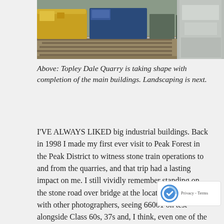[Figure (photo): Photograph of trains on tracks, partially cropped at the top. Yellow and blue locomotives visible on railway tracks with a stone bridge or structure visible on the right side.]
Above: Topley Dale Quarry is taking shape with completion of the main buildings. Landscaping is next.
I'VE ALWAYS LIKED big industrial buildings. Back in 1998 I made my first ever visit to Peak Forest in the Peak District to witness stone train operations to and from the quarries, and that trip had a lasting impact on me. I still vividly remember standing on the stone road over bridge at the location, chatting with other photographers, seeing 66001 on test alongside Class 60s, 37s and, I think, even one of the ex-National Power Class 59s. I also remember leaving my camera bag on the bri wall and setting off for home, only to realise...